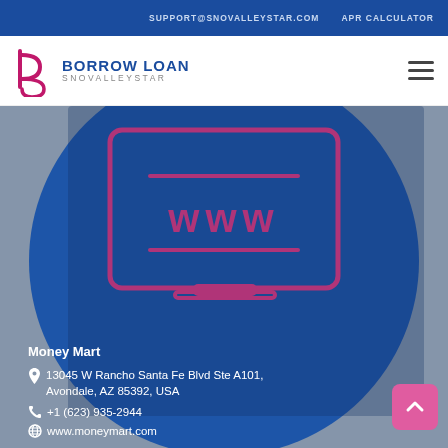SUPPORT@SNOVALLEYSTAR.COM   APR CALCULATOR
[Figure (logo): Borrow Loan Snovalleystar logo with stylized 'b' icon in pink/magenta and blue text]
[Figure (illustration): Computer monitor icon showing 'www' in pink/magenta on dark blue background, inside a blue circle]
Money Mart
📍 13045 W Rancho Santa Fe Blvd Ste A101, Avondale, AZ 85392, USA
📞 +1 (623) 935-2944
🌐 www.moneymart.com